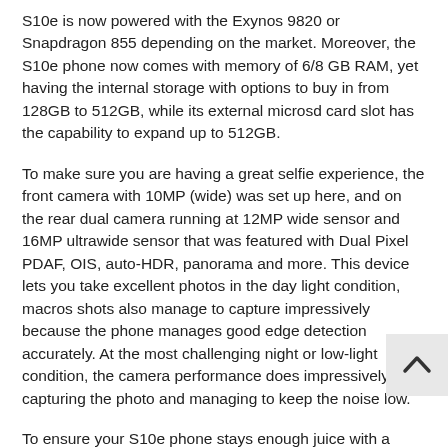S10e is now powered with the Exynos 9820 or Snapdragon 855 depending on the market. Moreover, the S10e phone now comes with memory of 6/8 GB RAM, yet having the internal storage with options to buy in from 128GB to 512GB, while its external microsd card slot has the capability to expand up to 512GB.
To make sure you are having a great selfie experience, the front camera with 10MP (wide) was set up here, and on the rear dual camera running at 12MP wide sensor and 16MP ultrawide sensor that was featured with Dual Pixel PDAF, OIS, auto-HDR, panorama and more. This device lets you take excellent photos in the day light condition, macros shots also manage to capture impressively because the phone manages good edge detection accurately. At the most challenging night or low-light condition, the camera performance does impressively by capturing the photo and managing to keep the noise low.
To ensure your S10e phone stays enough juice with a single